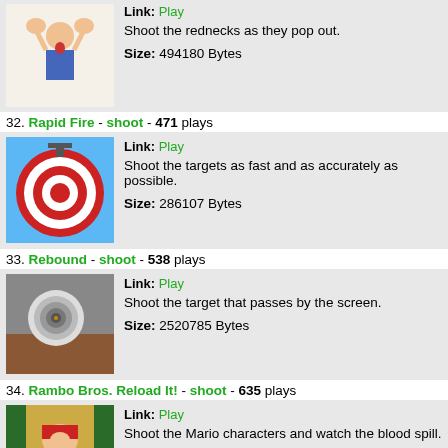Link: Play
Shoot the rednecks as they pop out.
Size: 494180 Bytes
32. Rapid Fire - shoot - 471 plays
Link: Play
Shoot the targets as fast and as accurately as possible.
Size: 286107 Bytes
33. Rebound - shoot - 538 plays
Link: Play
Shoot the target that passes by the screen.
Size: 2520785 Bytes
34. Rambo Bros. Reload It! - shoot - 635 plays
Link: Play
Shoot the Mario characters and watch the blood spill.
Size: 4377051 Bytes